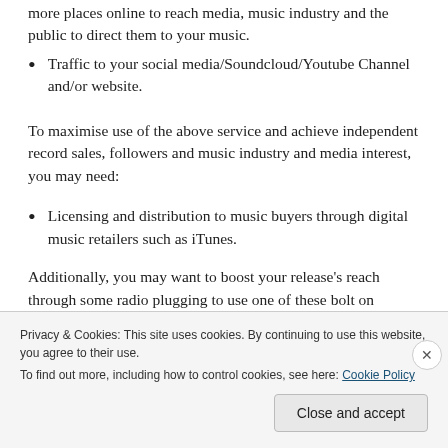more places online to reach media, music industry and the public to direct them to your music.
Traffic to your social media/Soundcloud/Youtube Channel and/or website.
To maximise use of the above service and achieve independent record sales, followers and music industry and media interest, you may need:
Licensing and distribution to music buyers through digital music retailers such as iTunes.
Additionally, you may want to boost your release's reach through some radio plugging to use one of these bolt on
Privacy & Cookies: This site uses cookies. By continuing to use this website, you agree to their use.
To find out more, including how to control cookies, see here: Cookie Policy
Close and accept